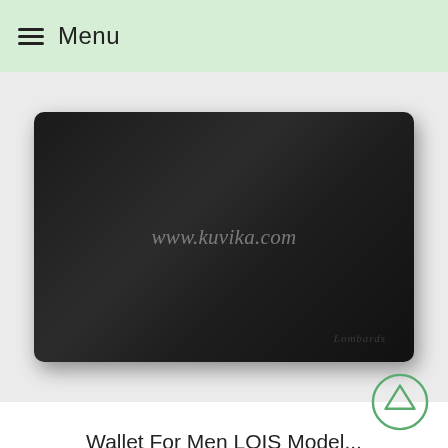Menu
[Figure (photo): Black leather long wallet (Lombards brand) on light grey background with www.kuvika.com watermark]
Wallet For Men LOIS Model...
€24.79 €23.55
[Figure (photo): Black leather bifold wallet partially visible at bottom of page with -5% discount badge in red]